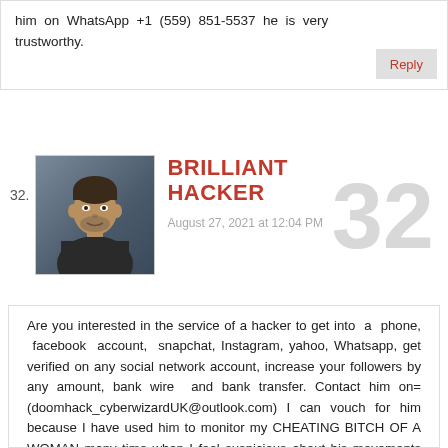him on WhatsApp +1 (559) 851-5537 he is very trustworthy.
Reply
32. BRILLIANT HACKER — August 27, 2021 at 12:04 PM
Are you interested in the service of a hacker to get into a phone, facebook account, snapchat, Instagram, yahoo, Whatsapp, get verified on any social network account, increase your followers by any amount, bank wire and bank transfer. Contact him on= (doomhack_cyberwizardUK@outlook.com) I can vouch for him because I have used him to monitor my CHEATING BITCH OF A WOMAN many time when I feel suspicious about his movements TALENTED HACKERS DO YOU REQUIRE A CERTIFIED